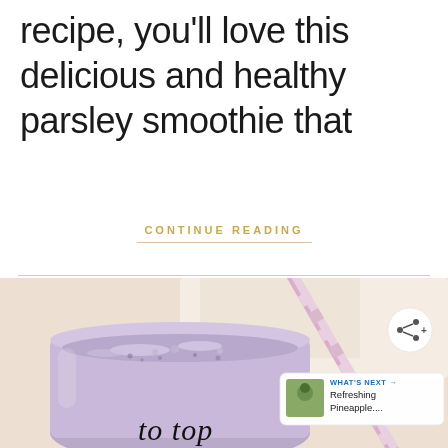recipe, you'll love this delicious and healthy parsley smoothie that
CONTINUE READING
[Figure (photo): Top-down view of a purple/blueberry smoothie in a mason jar with a pink striped straw, on a light beige background. There is a share button overlay, a 'What's Next' badge showing 'Refreshing Pineapple...' with a thumbnail, and a cursive script overlay reading 'to top'.]